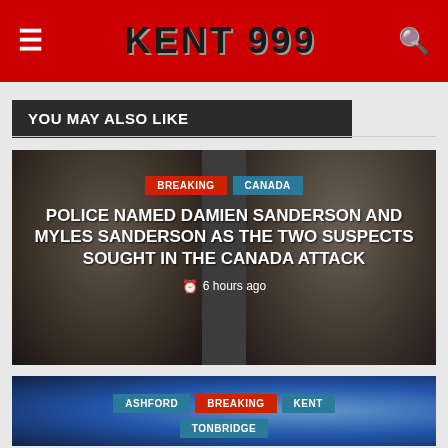KENT 999
YOU MAY ALSO LIKE
[Figure (photo): Two male suspects (Damien Sanderson and Myles Sanderson) police mugshot photos side by side on dark background with news article overlay]
POLICE NAMED DAMIEN SANDERSON AND MYLES SANDERSON AS THE TWO SUSPECTS SOUGHT IN THE CANADA ATTACK
6 hours ago
[Figure (photo): Second article card with blue background showing tags: ASHFORD, BREAKING, KENT, TONBRIDGE]